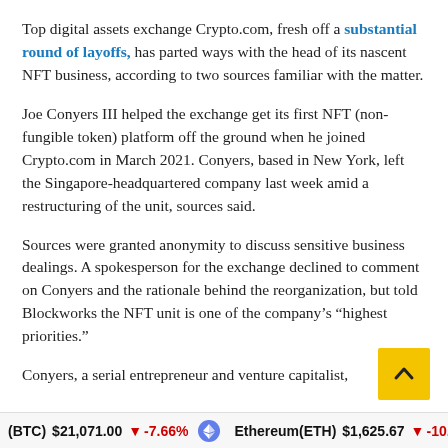Top digital assets exchange Crypto.com, fresh off a substantial round of layoffs, has parted ways with the head of its nascent NFT business, according to two sources familiar with the matter.
Joe Conyers III helped the exchange get its first NFT (non-fungible token) platform off the ground when he joined Crypto.com in March 2021. Conyers, based in New York, left the Singapore-headquartered company last week amid a restructuring of the unit, sources said.
Sources were granted anonymity to discuss sensitive business dealings. A spokesperson for the exchange declined to comment on Conyers and the rationale behind the reorganization, but told Blockworks the NFT unit is one of the company’s “highest priorities.”
Conyers, a serial entrepreneur and venture capitalist,
(BTC) $21,071.00 ↓ -7.66%   Ethereum(ETH) $1,625.67 ↓ -10.88%